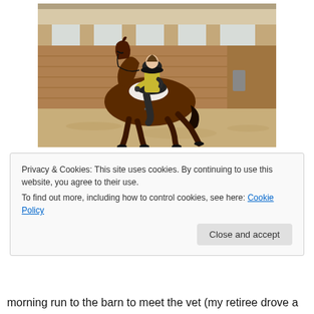[Figure (photo): A rider in a yellow shirt and black helmet on a bay horse trotting in an indoor arena with sandy footing and wooden walls.]
Privacy & Cookies: This site uses cookies. By continuing to use this website, you agree to their use.
To find out more, including how to control cookies, see here: Cookie Policy
Close and accept
morning run to the barn to meet the vet (my retiree drove a